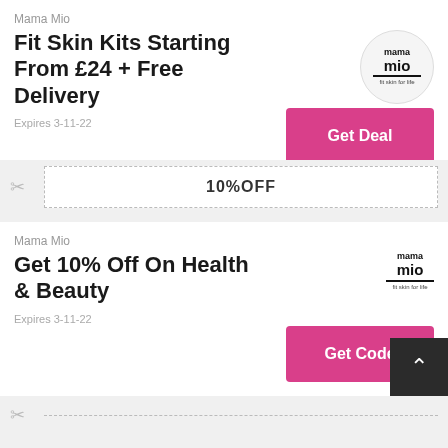Mama Mio
Fit Skin Kits Starting From £24 + Free Delivery
[Figure (logo): Mama Mio logo in circle: 'mama mio fit skin for life']
Get Deal
Expires 3-11-22
[Figure (other): Scissors icon with dashed coupon box showing 10%OFF]
10%OFF
Mama Mio
Get 10% Off On Health & Beauty
[Figure (logo): Mama Mio logo: 'mama mio fit skin for life']
Get Code
Expires 3-11-22
[Figure (other): Scissors icon at the bottom with dashed line]